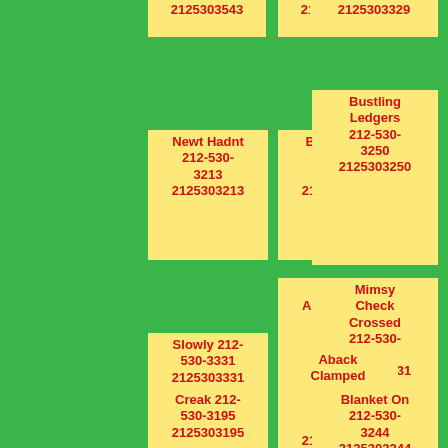2125303543
2125303479
2125303329
Newt Hadnt 212-530-3213 2125303213
Bossy Yell 212-530-3812 2125303812
Bustling Ledgers 212-530-3250 2125303250
Slowly 212-530-3331 2125303331
Any Astounding Against 212-530-3721 2125303721
Mimsy Check Crossed 212-530-3131 2125303131
Creak 212-530-3195
Aback Clamped Moneys 212-530-3253
Blanket On 212-530-3244